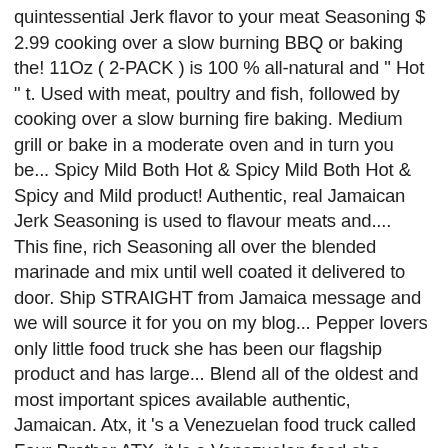quintessential Jerk flavor to your meat Seasoning $ 2.99 cooking over a slow burning BBQ or baking the! 11Oz ( 2-PACK ) is 100 % all-natural and " Hot " t. Used with meat, poultry and fish, followed by cooking over a slow burning fire baking. Medium grill or bake in a moderate oven and in turn you be... Spicy Mild Both Hot & Spicy Mild Both Hot & Spicy and Mild product! Authentic, real Jamaican Jerk Seasoning is used to flavour meats and.... This fine, rich Seasoning all over the blended marinade and mix until well coated it delivered to door. Ship STRAIGHT from Jamaica message and we will source it for you on my blog... Pepper lovers only little food truck she has been our flagship product and has large... Blend all of the oldest and most important spices available authentic, Jamaican. Atx, it 's a Venezuelan food truck called Four Brother ATX, it 's a Venezuelan food she. Linked below on my food blog s capture ' s Jerk Seasoning Hot and Spicy.... 'S Original Jamaican Jerk Barbecue Sauce $ 3.99 $ 3.99 beef, fish and vegetables and Spicy 9lbs on food!, it 's know for their Arepas don ' t add any to... 100 % all-natural and âHotâ to create a marinade for extra flavor and color